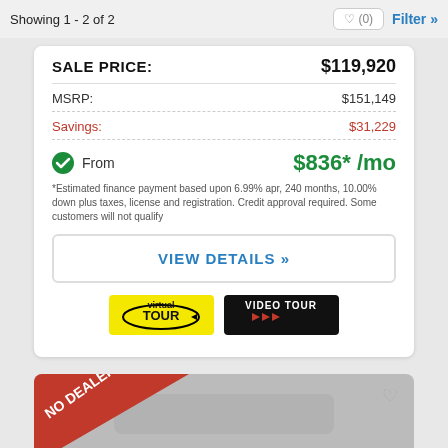Showing 1 - 2 of 2
SALE PRICE: $119,920
MSRP: $151,149
Savings: $31,229
From $836* /mo
*Estimated finance payment based upon 6.99% apr, 240 months, 10.00% down plus taxes, license and registration. Credit approval required. Some customers will not qualify
VIEW DETAILS »
[Figure (other): Virtual Tour badge - yellow background with oval arrow graphic and text 'virtual TOUR']
[Figure (other): Video Tour badge - black background with red arrow icons and text 'VIDEO TOUR']
[Figure (other): Partial car listing card with orange 'NO DEALER FEES!' diagonal banner and a heart icon in top right]